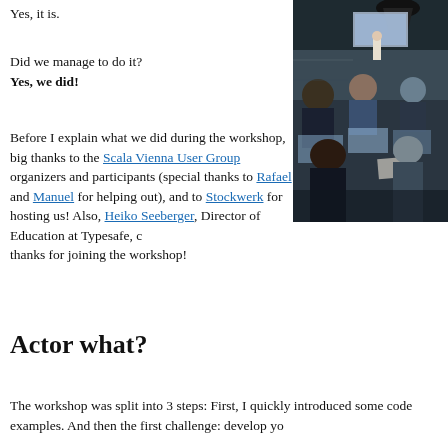Yes, it is.
[Figure (photo): Workshop photo showing attendees at laptops with a presenter at the front of the room and a projection screen]
Did we manage to do it?
Yes, we did!
Before I explain what we did during the workshop, big thanks to the Scala Vienna User Group organizers and participants (special thanks to Rafael and Manuel for helping out), and to Stockwerk for hosting us! Also, Heiko Seeberger, Director of Education at Typesafe, ca… thanks for joining the workshop!
Actor what?
The workshop was split into 3 steps: First, I quickly introduced some code examples. And then the first challenge: develop yo…